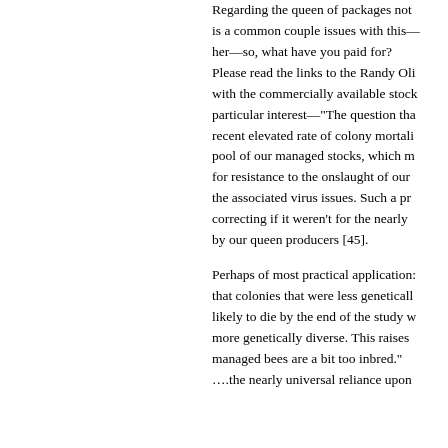Regarding the queen of packages not is a common couple issues with this—her—so, what have you paid for? Please read the links to the Randy Oli with the commercially available stock particular interest—"The question tha recent elevated rate of colony mortali pool of our managed stocks, which m for resistance to the onslaught of our the associated virus issues. Such a pr correcting if it weren't for the nearly by our queen producers [45].
Perhaps of most practical application: that colonies that were less geneticall likely to die by the end of the study w more genetically diverse. This raises managed bees are a bit too inbred." ….the nearly universal reliance upon